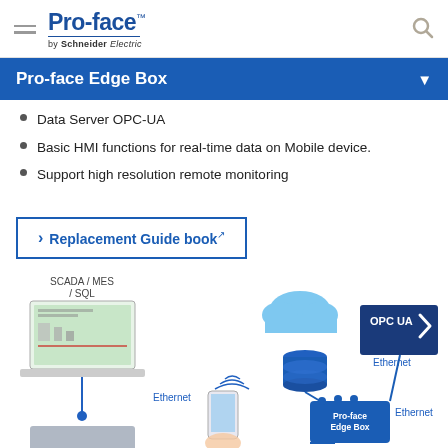Pro-face by Schneider Electric
Pro-face Edge Box
Data Server OPC-UA
Basic HMI functions for real-time data on Mobile device.
Support high resolution remote monitoring
Replacement Guide book
[Figure (infographic): Network diagram showing SCADA/MES/SQL connected via Ethernet to Pro-face Edge Box, which connects to cloud, database, OPC UA server via Ethernet, and a mobile device wirelessly.]